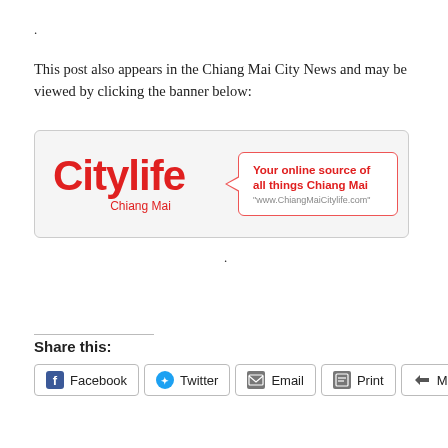.
This post also appears in the Chiang Mai City News and may be viewed by clicking the banner below:
[Figure (logo): Citylife Chiang Mai banner with speech bubble saying 'Your online source of all things Chiang Mai' and 'www.ChiangMaiCitylife.com']
.
Share this:
Facebook  Twitter  Email  Print  More